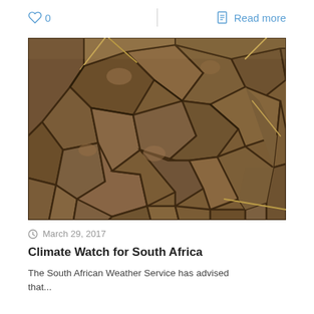♡ 0   |   Read more
[Figure (photo): Close-up photograph of severely cracked, dry earth showing drought conditions. The soil is broken into irregular polygon-shaped chunks with deep fissures between them. A few dry grass straws are visible on the surface.]
March 29, 2017
Climate Watch for South Africa
The South African Weather Service has advised that...